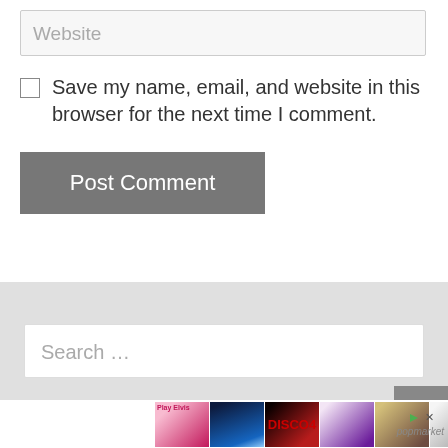Website
Save my name, email, and website in this browser for the next time I comment.
Post Comment
Search …
[Figure (screenshot): Thumbnail strip of album/product images with advertisement icons and popmarket text]